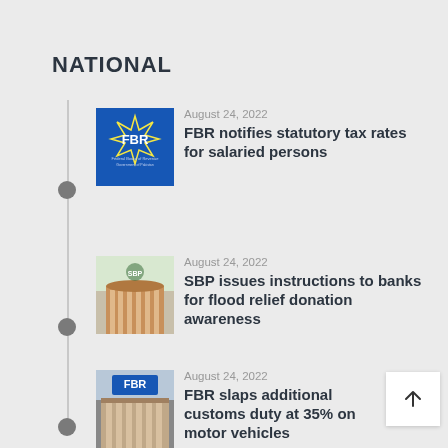NATIONAL
August 24, 2022 – FBR notifies statutory tax rates for salaried persons
August 24, 2022 – SBP issues instructions to banks for flood relief donation awareness
August 24, 2022 – FBR slaps additional customs duty at 35% on motor vehicles